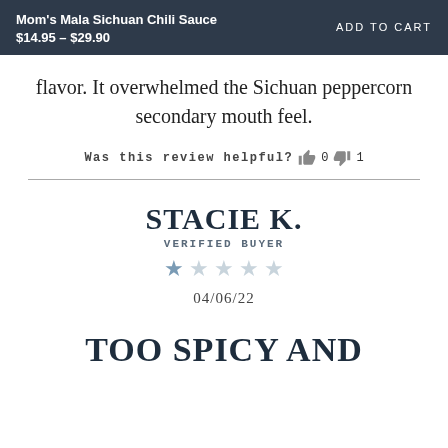Mom's Mala Sichuan Chili Sauce $14.95 - $29.90 | ADD TO CART
flavor. It overwhelmed the Sichuan peppercorn secondary mouth feel.
Was this review helpful? 👍0 👎1
STACIE K.
VERIFIED BUYER
★☆☆☆☆
04/06/22
TOO SPICY AND